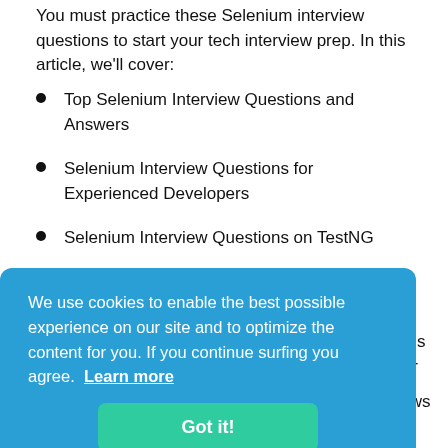You must practice these Selenium interview questions to start your tech interview prep. In this article, we'll cover:
Top Selenium Interview Questions and Answers
Selenium Interview Questions for Experienced Developers
Selenium Interview Questions on TestNG
Selenium Interview Questions on WebDriver
We use cookies to enable the best possible experience on our site and to optimize the content for you. If you continue surfing you agree. Learn more
Got it!